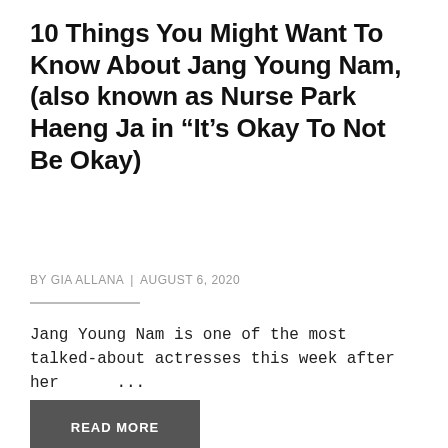10 Things You Might Want To Know About Jang Young Nam, (also known as Nurse Park Haeng Ja in “It’s Okay To Not Be Okay)
BY GIA ALLANA | AUGUST 6, 2020
Jang Young Nam is one of the most talked-about actresses this week after her    ...
READ MORE
[Figure (photo): A photo strip showing multiple Korean actresses with various hair colors and backgrounds]